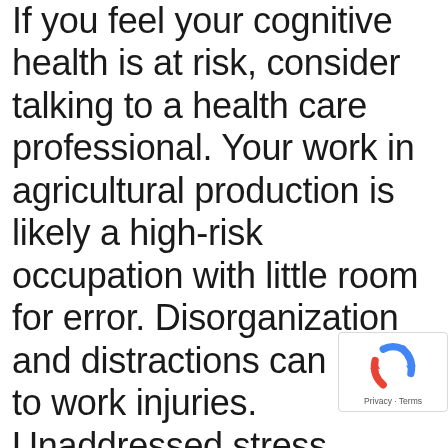If you feel your cognitive health is at risk, consider talking to a health care professional. Your work in agricultural production is likely a high-risk occupation with little room for error. Disorganization and distractions can lead to work injuries. Unaddressed stress, illness and aging can negatively impact the effective cognitive functioning of agricultural producers. If you experience slow cognitive processing do not wait get help.
[Figure (logo): Google reCAPTCHA logo with Privacy and Terms links]